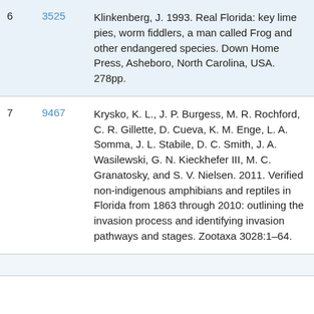6  3525  Klinkenberg, J. 1993. Real Florida: key lime pies, worm fiddlers, a man called Frog and other endangered species. Down Home Press, Asheboro, North Carolina, USA. 278pp.
7  9467  Krysko, K. L., J. P. Burgess, M. R. Rochford, C. R. Gillette, D. Cueva, K. M. Enge, L. A. Somma, J. L. Stabile, D. C. Smith, J. A. Wasilewski, G. N. Kieckhefer III, M. C. Granatosky, and S. V. Nielsen. 2011. Verified non-indigenous amphibians and reptiles in Florida from 1863 through 2010: outlining the invasion process and identifying invasion pathways and stages. Zootaxa 3028:1–64.